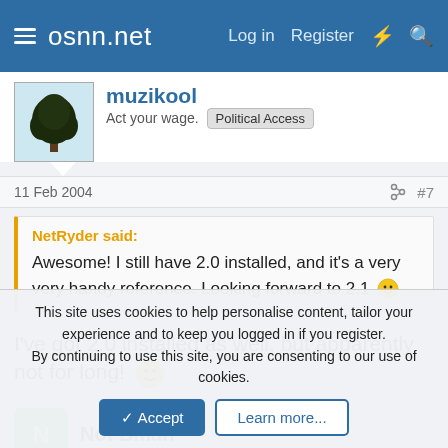osnn.net  Log in  Register
muzikool
Act your wage.  Political Access
11 Feb 2004  #7
NetRyder said:
Awesome! I still have 2.0 installed, and it's a very very handy reference. Looking forward to 2.1 🙂
I've got 2.0 installed as well, but apparently not for long! 🙂
Not Bman
This site uses cookies to help personalise content, tailor your experience and to keep you logged in if you register.
By continuing to use this site, you are consenting to our use of cookies.
Accept  Learn more...